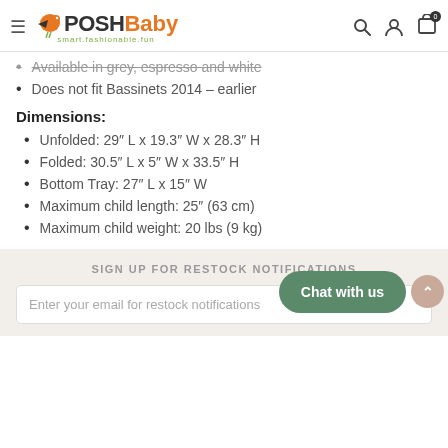PoshBaby — smart.fashionable.fun
Available in grey, espresso and white
Does not fit Bassinets 2014 – earlier
Dimensions:
Unfolded: 29" L x 19.3" W x 28.3" H
Folded: 30.5" L x 5" W x 33.5" H
Bottom Tray: 27" L x 15" W
Maximum child length: 25" (63 cm)
Maximum child weight: 20 lbs (9 kg)
SIGN UP FOR RESTOCK NOTIFICATIONS
Enter your email for restock notifications